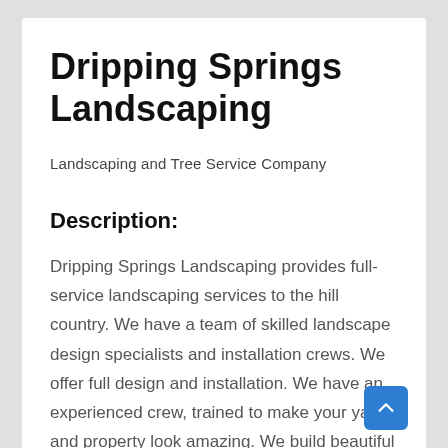Dripping Springs Landscaping
Landscaping and Tree Service Company
Description:
Dripping Springs Landscaping provides full-service landscaping services to the hill country. We have a team of skilled landscape design specialists and installation crews. We offer full design and installation. We have an experienced crew, trained to make your yard and property look amazing. We build beautiful outdoor living spaces, outdoor kitchens, fire pits, pagodas, and swimming pool surrounds. We can redesign your backyard and make it a beautiful place